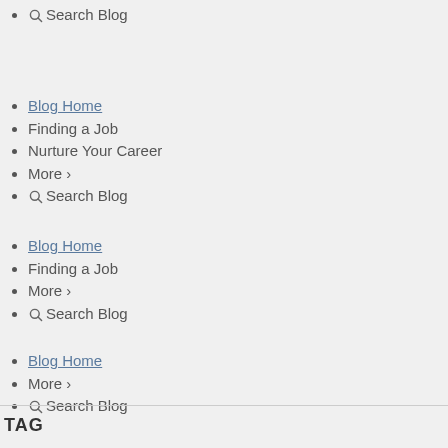🔍 Search Blog
Blog Home
Finding a Job
Nurture Your Career
More >
🔍 Search Blog
Blog Home
Finding a Job
More >
🔍 Search Blog
Blog Home
More >
🔍 Search Blog
TAG